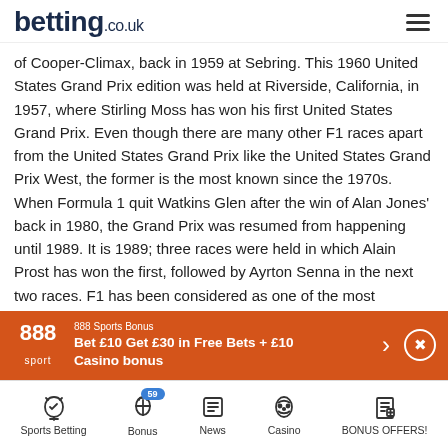betting.co.uk
of Cooper-Climax, back in 1959 at Sebring. This 1960 United States Grand Prix edition was held at Riverside, California, in 1957, where Stirling Moss has won his first United States Grand Prix. Even though there are many other F1 races apart from the United States Grand Prix like the United States Grand Prix West, the former is the most known since the 1970s. When Formula 1 quit Watkins Glen after the win of Alan Jones' back in 1980, the Grand Prix was resumed from happening until 1989. It is 1989; three races were held in which Alain Prost has won the first, followed by Ayrton Senna in the next two races. F1 has been considered as one of the most acknowledged automobile brands that stand as a synonym for speed, ever
[Figure (infographic): 888 Sport advertisement banner: '888 Sports Bonus - Bet £10 Get £30 in Free Bets + £10 Casino bonus' with arrow and close button on orange background]
Sports Betting | Bonus (59) | News | Casino | BONUS OFFERS!